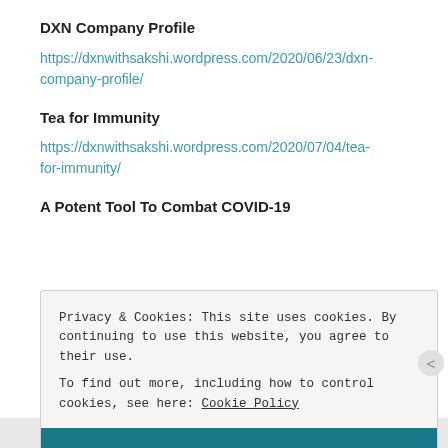DXN Company Profile
https://dxnwithsakshi.wordpress.com/2020/06/23/dxn-company-profile/
Tea for Immunity
https://dxnwithsakshi.wordpress.com/2020/07/04/tea-for-immunity/
A Potent Tool To Combat COVID-19
Privacy & Cookies: This site uses cookies. By continuing to use this website, you agree to their use.
To find out more, including how to control cookies, see here: Cookie Policy
Close and accept